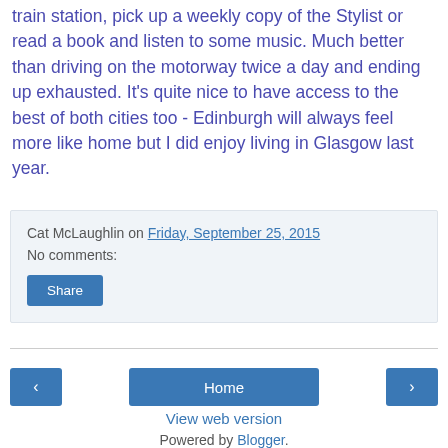train station, pick up a weekly copy of the Stylist or read a book and listen to some music. Much better than driving on the motorway twice a day and ending up exhausted. It's quite nice to have access to the best of both cities too - Edinburgh will always feel more like home but I did enjoy living in Glasgow last year.
Cat McLaughlin on Friday, September 25, 2015
No comments:
Share
View web version
Powered by Blogger.